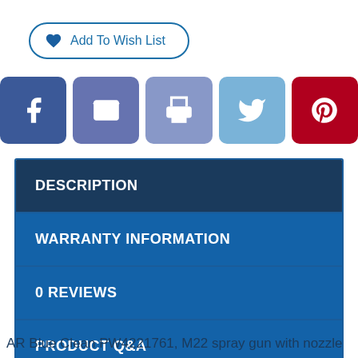[Figure (other): Add To Wish List button with heart icon, outlined blue rounded rectangle]
[Figure (other): Social sharing icon buttons: Facebook (dark blue), Email (medium blue), Print (light purple-blue), Twitter (light blue), Pinterest (dark red)]
DESCRIPTION
WARRANTY INFORMATION
0 REVIEWS
PRODUCT Q&A
AR Blue Clean PW4221761, M22 spray gun with nozzle